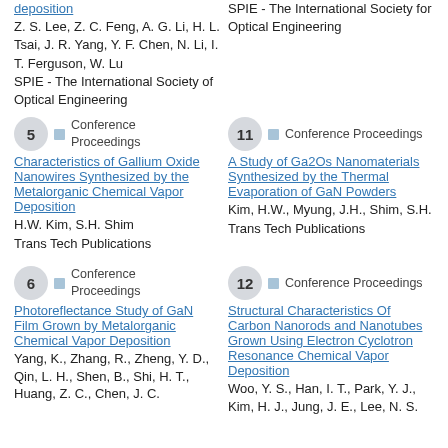deposition
Z. S. Lee, Z. C. Feng, A. G. Li, H. L. Tsai, J. R. Yang, Y. F. Chen, N. Li, I. T. Ferguson, W. Lu
SPIE - The International Society of Optical Engineering
SPIE - The International Society for Optical Engineering
5  Conference Proceedings
Characteristics of Gallium Oxide Nanowires Synthesized by the Metalorganic Chemical Vapor Deposition
H.W. Kim, S.H. Shim
Trans Tech Publications
11  Conference Proceedings
A Study of Ga2Os Nanomaterials Synthesized by the Thermal Evaporation of GaN Powders
Kim, H.W., Myung, J.H., Shim, S.H.
Trans Tech Publications
6  Conference Proceedings
Photoreflectance Study of GaN Film Grown by Metalorganic Chemical Vapor Deposition
Yang, K., Zhang, R., Zheng, Y. D., Qin, L. H., Shen, B., Shi, H. T., Huang, Z. C., Chen, J. C.
12  Conference Proceedings
Structural Characteristics Of Carbon Nanorods and Nanotubes Grown Using Electron Cyclotron Resonance Chemical Vapor Deposition
Woo, Y. S., Han, I. T., Park, Y. J., Kim, H. J., Jung, J. E., Lee, N. S.